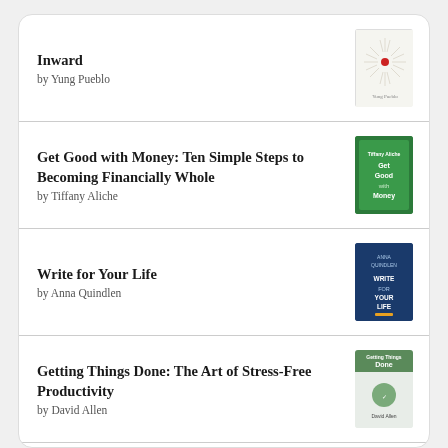Inward by Yung Pueblo
Get Good with Money: Ten Simple Steps to Becoming Financially Whole by Tiffany Aliche
Write for Your Life by Anna Quindlen
Getting Things Done: The Art of Stress-Free Productivity by David Allen
At the Breakfast Table by Defne Suman